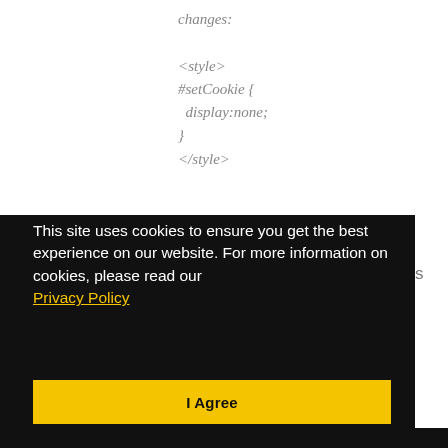changes:
<style>
#setCookie {
  display:none;
}
</style>
This site uses cookies to ensure you get the best experience on our website. For more information on cookies, please read our Privacy Policy
I Agree